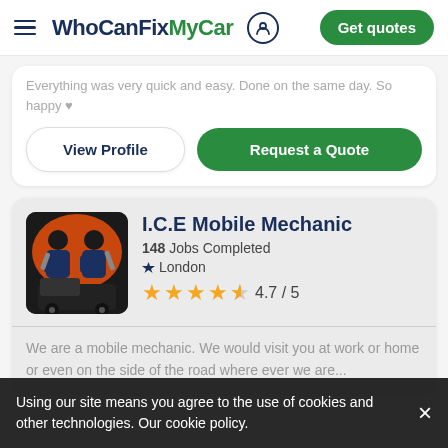WhoCanFixMyCar — Get quotes
Everything was very quick and easy. Done on the same day. So happy ♥
View Profile
Request a Quote
I.C.E Mobile Mechanic
148 Jobs Completed
London
4.7 / 5
We are a mobile mechanic. We would visit you at work or home or even on the side of the road where ever we are...
Using our site means you agree to the use of cookies and other technologies. Our cookie policy.